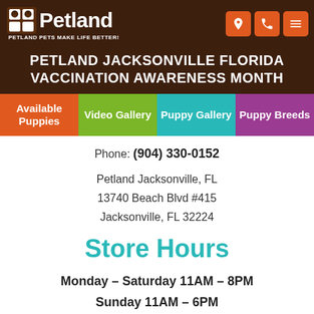[Figure (logo): Petland logo with dog icon and tagline 'PETLAND PETS MAKE LIFE BETTER!']
PETLAND JACKSONVILLE FLORIDA VACCINATION AWARENESS MONTH
Available Puppies
Video Gallery
Puppy Gallery
Puppy Breeds
Phone: (904) 330-0152
Petland Jacksonville, FL
13740 Beach Blvd #415
Jacksonville, FL 32224
Store Hours
Monday – Saturday 11AM – 8PM
Sunday 11AM – 6PM
Some partial footer text